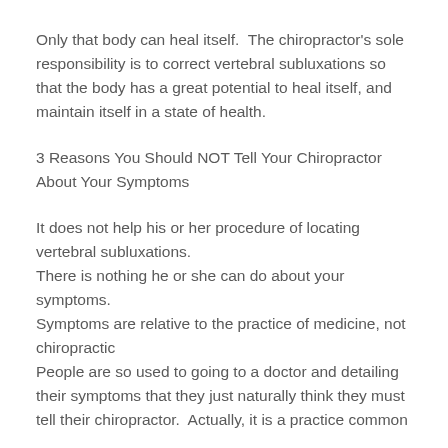Only that body can heal itself.  The chiropractor's sole responsibility is to correct vertebral subluxations so that the body has a great potential to heal itself, and maintain itself in a state of health.
3 Reasons You Should NOT Tell Your Chiropractor About Your Symptoms
It does not help his or her procedure of locating vertebral subluxations.
There is nothing he or she can do about your symptoms.
Symptoms are relative to the practice of medicine, not chiropractic
People are so used to going to a doctor and detailing their symptoms that they just naturally think they must tell their chiropractor.  Actually, it is a practice common